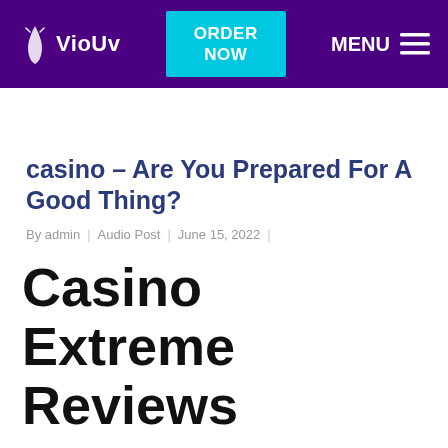VioUv | ORDER NOW | MENU
casino – Are You Prepared For A Good Thing?
By admin | Audio Post | June 15, 2022 |
Casino Extreme Reviews